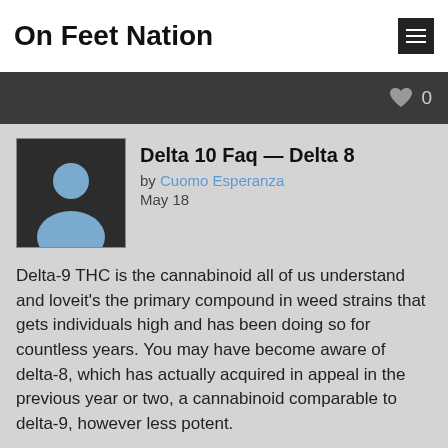On Feet Nation
Delta 10 Faq — Delta 8
by Cuomo Esperanza
May 18
Delta-9 THC is the cannabinoid all of us understand and loveit's the primary compound in weed strains that gets individuals high and has been doing so for countless years. You may have become aware of delta-8, which has actually acquired in appeal in the previous year or two, a cannabinoid comparable to delta-9, however less potent.
Really, it's difficult to stay up to date with weed trends. Let's see what the huge deal is with delta-10, if it can get you high, how it compares to other cannabinoids, and how to get it. What is delta-10? Delta-10 is a cannabinoid